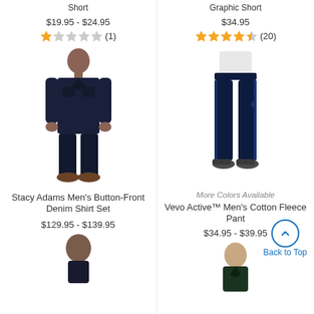Short
$19.95 - $24.95
★☆☆☆☆ (1)
[Figure (photo): Man wearing dark denim shirt and jeans]
Stacy Adams Men's Button-Front Denim Shirt Set
$129.95 - $139.95
[Figure (photo): Man's head and shoulders, bottom of page]
Graphic Short
$34.95
★★★★½ (20)
[Figure (photo): Man wearing navy fleece sweatpants]
More Colors Available
Vevo Active™ Men's Cotton Fleece Pant
$34.95 - $39.95
Back to Top
[Figure (photo): Man wearing dark jacket, bottom of page]